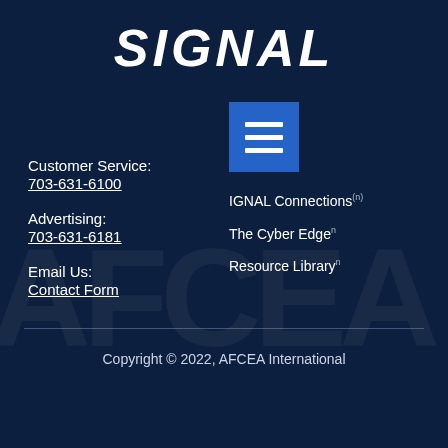SIGNAL
[Figure (logo): Blue square hamburger menu icon with three white horizontal bars]
IGNAL Connections
The Cyber Edge
Resource Library
Customer Service:
703-631-6100
Advertising:
703-631-6181
Email Us:
Contact Form
Copyright © 2022, AFCEA International